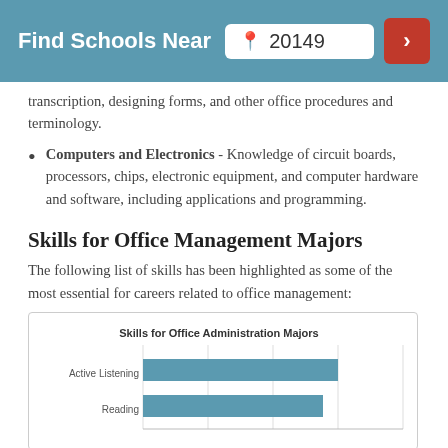Find Schools Near 20149
transcription, designing forms, and other office procedures and terminology.
Computers and Electronics - Knowledge of circuit boards, processors, chips, electronic equipment, and computer hardware and software, including applications and programming.
Skills for Office Management Majors
The following list of skills has been highlighted as some of the most essential for careers related to office management:
[Figure (bar-chart): Skills for Office Administration Majors]